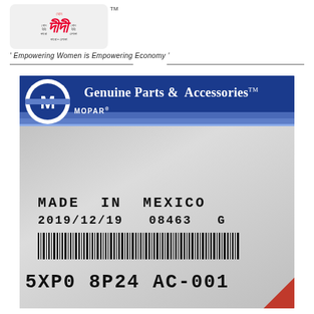[Figure (logo): Didi brand logo with Bengali text in a rounded rectangle, with TM mark]
' Empowering Women is Empowering Economy '
[Figure (photo): MOPAR Genuine Parts & Accessories packaging showing a product in a clear plastic bag. Label reads: MADE IN MEXICO, 2019/12/19  08463  G, with barcode, part number 5XP0 8P24 AC-001]